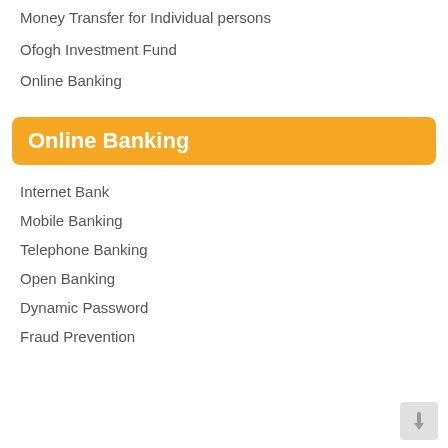Money Transfer for Individual persons
Ofogh Investment Fund
Online Banking
Online Banking
Internet Bank
Mobile Banking
Telephone Banking
Open Banking
Dynamic Password
Fraud Prevention